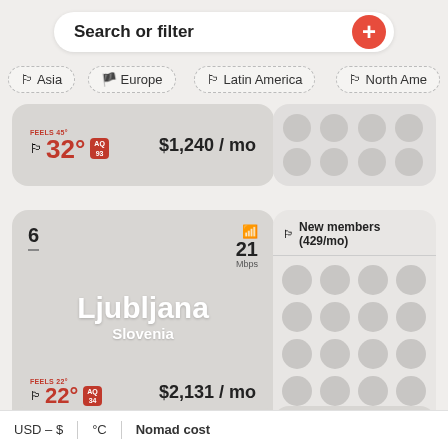Search or filter
Asia
Europe
Latin America
North America
FEELS 45° | 32° | AQ 93 | $1,240 / mo
6 | 21 Mbps | Ljubljana | Slovenia | FEELS 22° | 22° | AQ 34 | $2,131 / mo
New members (429/mo)
7 | 24 Mbps
8 | 34
Messages
USD – $ | °C | Nomad cost